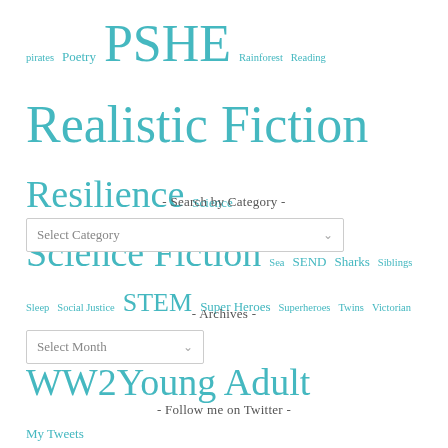pirates Poetry PSHE Rainforest Reading Realistic Fiction Resilience Science Science Fiction Sea SEND Sharks Siblings Sleep Social Justice STEM Super Heroes Superheroes Twins Victorian Water WW1 WW2 Young Adult
- Search by Category -
Select Category
- Archives -
Select Month
- Follow me on Twitter -
My Tweets